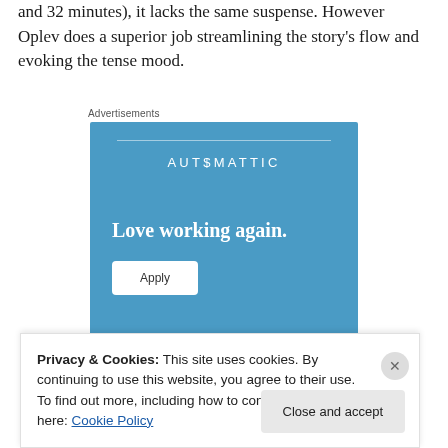and 32 minutes), it lacks the same suspense. However Oplev does a superior job streamlining the story's flow and evoking the tense mood.
[Figure (other): Automattic advertisement banner with blue background, brand name 'AUTOMATTIC', tagline 'Love working again.' and an 'Apply' button]
Privacy & Cookies: This site uses cookies. By continuing to use this website, you agree to their use.
To find out more, including how to control cookies, see here: Cookie Policy
Close and accept